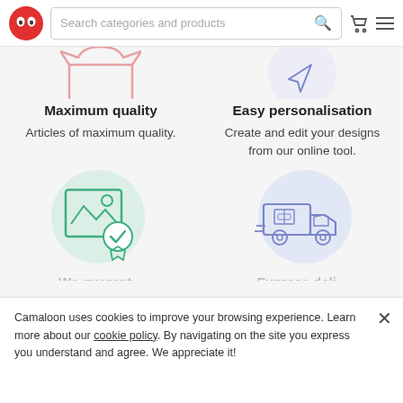Search categories and products
[Figure (illustration): Partial cropped icon of a t-shirt outline in salmon/pink color, top of page left column]
[Figure (illustration): Partial cropped icon of a cursor/personalization in blue/lavender, top of page right column]
Maximum quality
Easy personalisation
Articles of maximum quality.
Create and edit your designs from our online tool.
[Figure (illustration): Green circle with an image/photo icon and a quality badge/checkmark medal icon]
[Figure (illustration): Blue/lavender circle with a delivery truck icon]
Camaloon uses cookies to improve your browsing experience. Learn more about our cookie policy. By navigating on the site you express you understand and agree. We appreciate it!
free so that the printing is perfect.